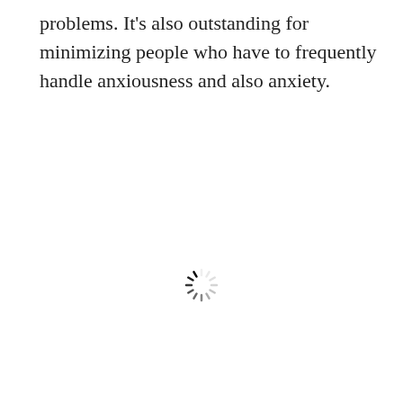problems. It's also outstanding for minimizing people who have to frequently handle anxiousness and also anxiety.
[Figure (other): A loading spinner icon (circular dashed ring) centered in the lower half of the page.]